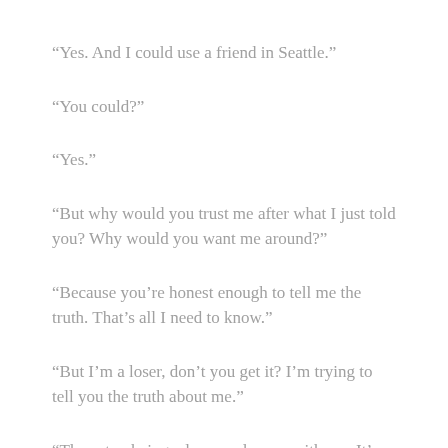“Yes. And I could use a friend in Seattle.”
“You could?”
“Yes.”
“But why would you trust me after what I just told you? Why would you want me around?”
“Because you’re honest enough to tell me the truth. That’s all I need to know.”
“But I’m a loser, don’t you get it? I’m trying to tell you the truth about me.”
“Then stop being a loser and come with me. It’s as simple as